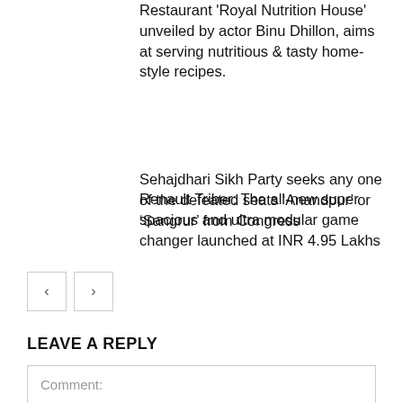Restaurant 'Royal Nutrition House' unveiled by actor Binu Dhillon, aims at serving nutritious & tasty home-style recipes.
Renault Triber: The all-new super spacious and ultra modular game changer launched at INR 4.95 Lakhs
Sehajdhari Sikh Party seeks any one of the defeated seats ‘Anandpur’ or ‘Sangrur’ from Congress
LEAVE A REPLY
Comment: